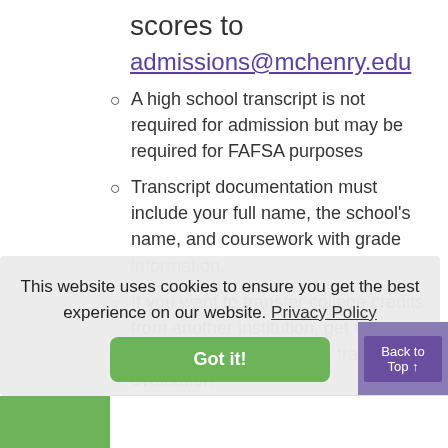scores to
admissions@mchenry.edu
A high school transcript is not required for admission but may be required for FAFSA purposes
Transcript documentation must include your full name, the school's name, and coursework with grade information.
If you want to transfer college credits from another institution, get the information about college transcript evaluation
This website uses cookies to ensure you get the best experience on our website. Privacy Policy
Got it!
Back to Top ↑